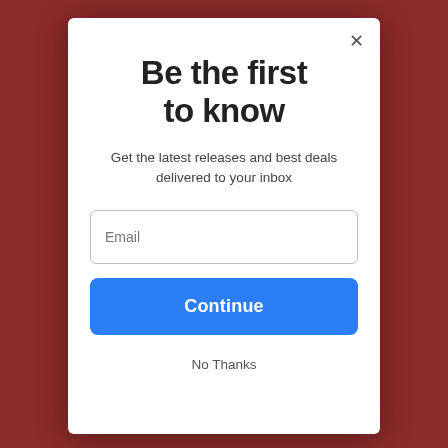[Figure (screenshot): Background showing a reddish-brown webpage with partial content visible behind a modal dialog]
Be the first to know
Get the latest releases and best deals delivered to your inbox
Email
Continue
No Thanks